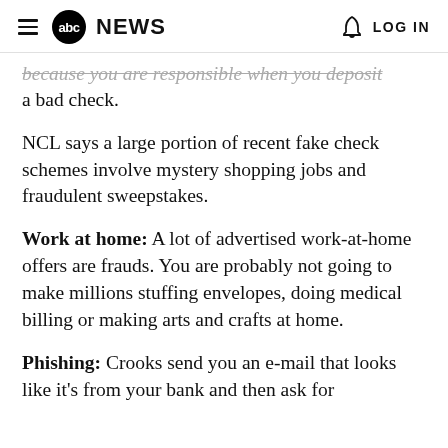abc NEWS  LOG IN
because you are responsible when you deposit a bad check.
NCL says a large portion of recent fake check schemes involve mystery shopping jobs and fraudulent sweepstakes.
Work at home: A lot of advertised work-at-home offers are frauds. You are probably not going to make millions stuffing envelopes, doing medical billing or making arts and crafts at home.
Phishing: Crooks send you an e-mail that looks like it's from your bank and then ask for